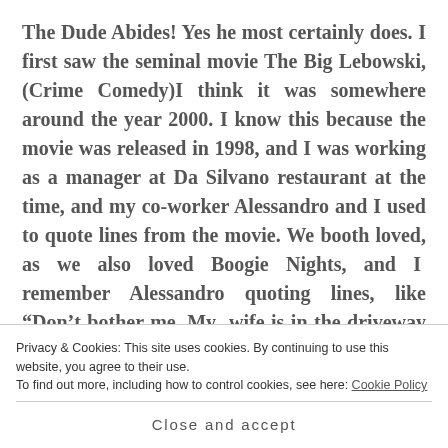The Dude Abides! Yes he most certainly does. I first saw the seminal movie The Big Lebowski, (Crime Comedy)I think it was somewhere around the year 2000. I know this because the movie was released in 1998, and I was working as a manager at Da Silvano restaurant at the time, and my co-worker Alessandro and I used to quote lines from the movie. We booth loved, as we also loved Boogie Nights, and I remember Alessandro quoting lines, like “Don’t bother me. My wife is in the driveway with an Ass up her Dic... and you’re giving me shit about the
Privacy & Cookies: This site uses cookies. By continuing to use this website, you agree to their use.
To find out more, including how to control cookies, see here: Cookie Policy
Close and accept